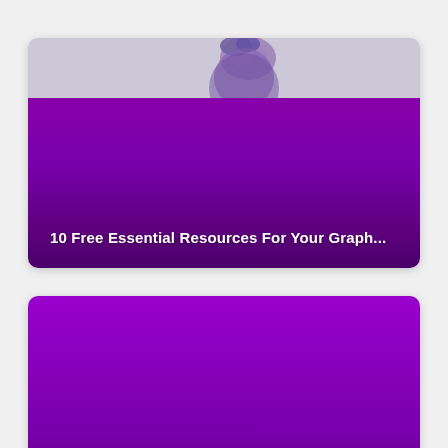[Figure (illustration): Card with purple gradient background and partial image of a person at the top, with text overlay at the bottom.]
10 Free Essential Resources For Your Graph...
[Figure (illustration): Card with solid purple gradient background, no image, with text overlay at the bottom.]
Free PSD Flyer Templates For Autumn Celeb...